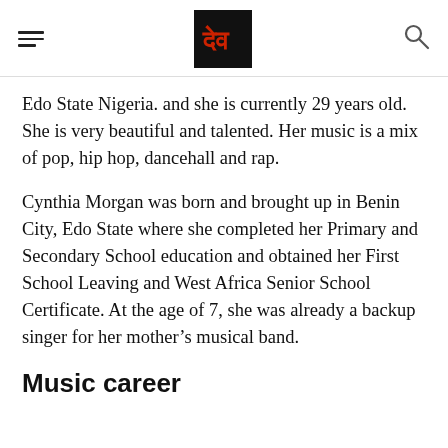[hamburger menu] [logo] [search icon]
Edo State Nigeria. and she is currently 29 years old. She is very beautiful and talented. Her music is a mix of pop, hip hop, dancehall and rap.
Cynthia Morgan was born and brought up in Benin City, Edo State where she completed her Primary and Secondary School education and obtained her First School Leaving and West Africa Senior School Certificate. At the age of 7, she was already a backup singer for her mother’s musical band.
Music career